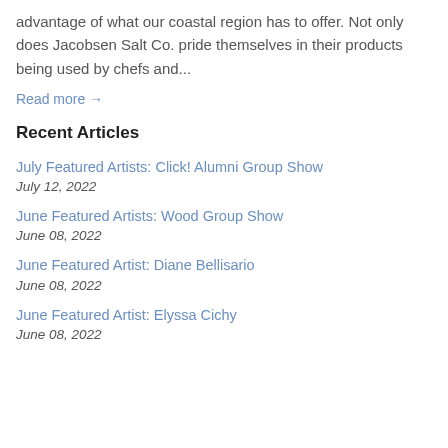advantage of what our coastal region has to offer. Not only does Jacobsen Salt Co. pride themselves in their products being used by chefs and...
Read more →
Recent Articles
July Featured Artists: Click! Alumni Group Show
July 12, 2022
June Featured Artists: Wood Group Show
June 08, 2022
June Featured Artist: Diane Bellisario
June 08, 2022
June Featured Artist: Elyssa Cichy
June 08, 2022